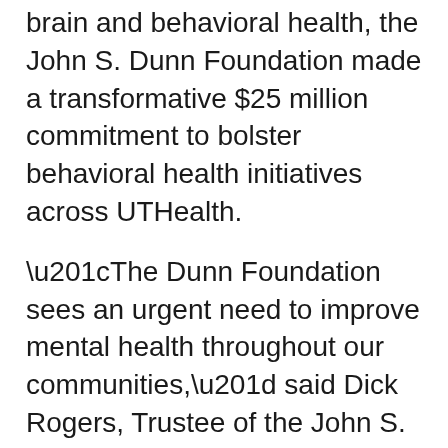brain and behavioral health, the John S. Dunn Foundation made a transformative $25 million commitment to bolster behavioral health initiatives across UTHealth.
“The Dunn Foundation sees an urgent need to improve mental health throughout our communities,” said Dick Rogers, Trustee of the John S. Dunn Foundation. “We have dedicated more and more of the Foundation’s annual grants to mental health initiatives over the past eight to 10 years. Working together with UTHealth, we will ensure that Texans have access to faster behavioral health interventions, better treatment options, and more specialists who can provide compassionate, patient-centered mental health care.”
The Dunn Foundation’s pledge will support faculty,